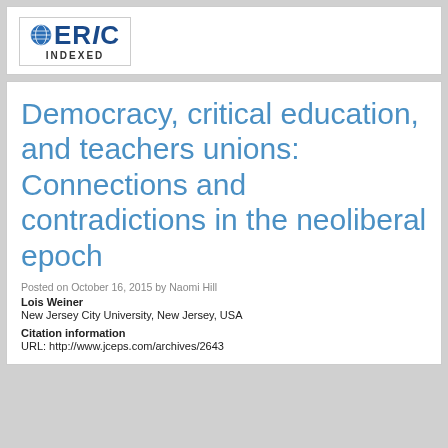[Figure (logo): ERIC INDEXED logo with globe icon and blue text]
Democracy, critical education, and teachers unions: Connections and contradictions in the neoliberal epoch
Posted on October 16, 2015 by Naomi Hill
Lois Weiner
New Jersey City University, New Jersey, USA
Citation information
URL: http://www.jceps.com/archives/2643